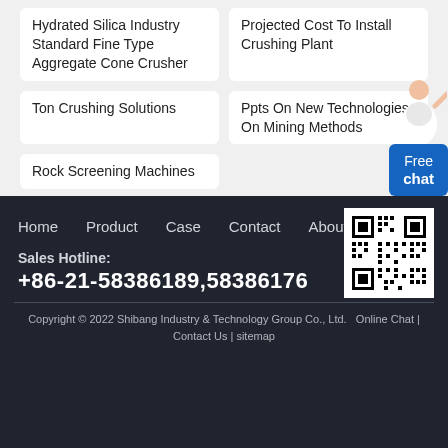Hydrated Silica Industry Standard Fine Type Aggregate Cone Crusher
Projected Cost To Install Crushing Plant
Ton Crushing Solutions
Ppts On New Technologies On Mining Methods
Rock Screening Machines
[Figure (other): Free chat button widget with person illustration]
Home   Product   Case   Contact   About
[Figure (other): QR code for website]
Sales Hotline:
+86-21-58386189,58386176
Copyright © 2022 Shibang Industry & Technology Group Co., Ltd.   Online Chat | Contact Us | sitemap